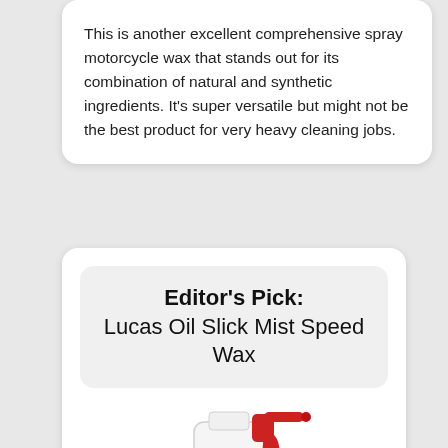This is another excellent comprehensive spray motorcycle wax that stands out for its combination of natural and synthetic ingredients. It's super versatile but might not be the best product for very heavy cleaning jobs.
Editor's Pick: Lucas Oil Slick Mist Speed Wax
[Figure (photo): Partial view of a spray bottle with white body and red trigger/nozzle, showing the top portion of the bottle]